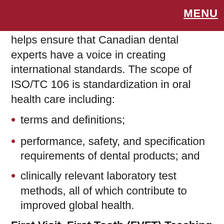MENU
helps ensure that Canadian dental experts have a voice in creating international standards. The scope of ISO/TC 106 is standardization in oral health care including:
terms and definitions;
performance, safety, and specification requirements of dental products; and
clinically relevant laboratory test methods, all of which contribute to improved global health.
First Visit, First Tooth (FVFT) Teaching Course: CDA offers a teaching kit to help dentists see children reach their full dental potential and prevent the burden of illness associated with early childhood caries. Learn more about